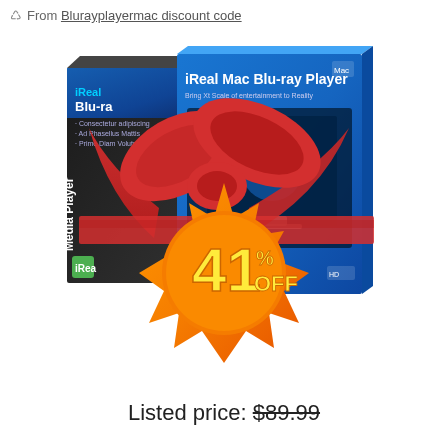From Blurayplayermac discount code
[Figure (photo): Product image of iReal Mac Blu-ray Player software boxes with a red ribbon bow and a starburst badge showing 41% OFF]
Listed price: $89.99